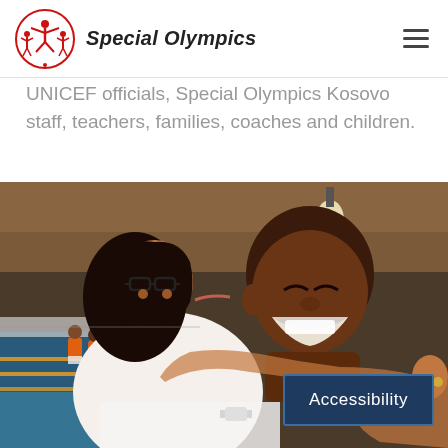[Figure (logo): Special Olympics logo - red circular emblem with figures, beside bold italic text 'Special Olympics']
UNICEF officials, Special Olympics Kosovo staff, teachers, families, coaches and children.
[Figure (photo): A woman with glasses kisses a young man on the cheek near a swimming pool. The young man is smiling broadly. In the background, athletes in orange are seated by a pool with lane markers.]
Accessibility